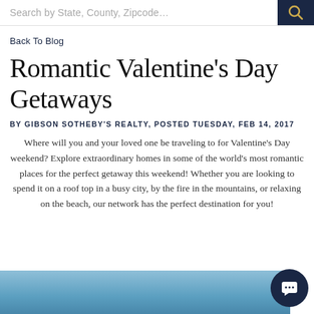Search by State, County, Zipcode…
Back To Blog
Romantic Valentine's Day Getaways
BY GIBSON SOTHEBY'S REALTY, POSTED TUESDAY, FEB 14, 2017
Where will you and your loved one be traveling to for Valentine's Day weekend? Explore extraordinary homes in some of the world's most romantic places for the perfect getaway this weekend! Whether you are looking to spend it on a roof top in a busy city, by the fire in the mountains, or relaxing on the beach, our network has the perfect destination for you!
[Figure (photo): Blue sky background image at bottom of page]